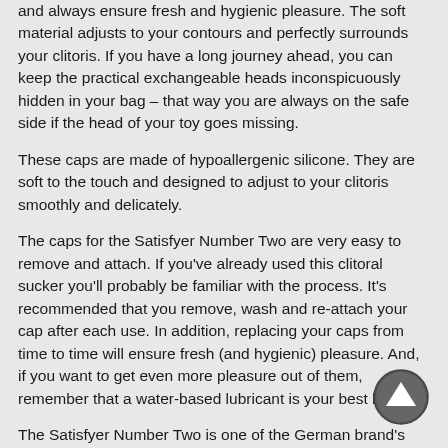and always ensure fresh and hygienic pleasure. The soft material adjusts to your contours and perfectly surrounds your clitoris. If you have a long journey ahead, you can keep the practical exchangeable heads inconspicuously hidden in your bag – that way you are always on the safe side if the head of your toy goes missing.
These caps are made of hypoallergenic silicone. They are soft to the touch and designed to adjust to your clitoris smoothly and delicately.
The caps for the Satisfyer Number Two are very easy to remove and attach. If you've already used this clitoral sucker you'll probably be familiar with the process. It's recommended that you remove, wash and re-attach your cap after each use. In addition, replacing your caps from time to time will ensure fresh (and hygienic) pleasure. And, if you want to get even more pleasure out of them, remember that a water-based lubricant is your best bet.
The Satisfyer Number Two is one of the German brand's star products. Its 11 suction programmes, ergonomic shape and intuitive design make it one of Satisfyer's most popular products.
[Figure (illustration): A circular button with an upward-pointing arrow icon, used for scrolling up.]